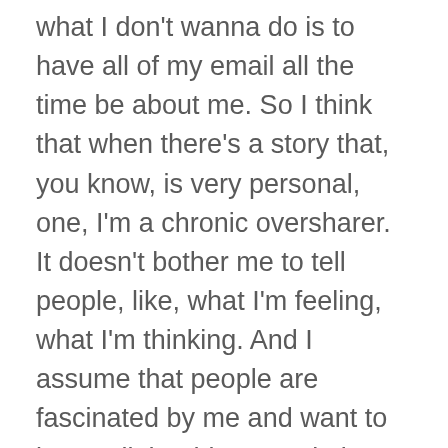what I don't wanna do is to have all of my email all the time be about me. So I think that when there's a story that, you know, is very personal, one, I'm a chronic oversharer. It doesn't bother me to tell people, like, what I'm feeling, what I'm thinking. And I assume that people are fascinated by me and want to know all the things, and also, I remember that people do not always, do not always wanna know what's happening in my world, in my mind. And they care about themselves, so when I do tell a story that is personal, there's a reason. I'm not telling it just because I like attention, which I do, but I'm also telling it because I think there's a benefit, and I'm gonna draw that